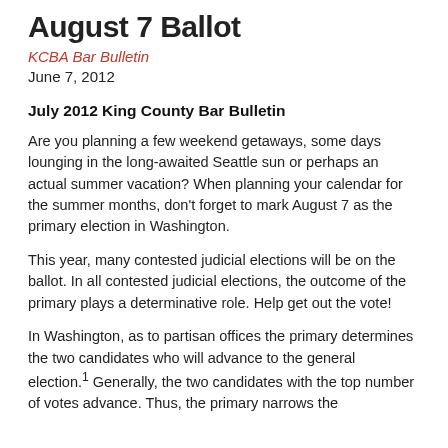August 7 Ballot
KCBA Bar Bulletin
June 7, 2012
July 2012 King County Bar Bulletin
Are you planning a few weekend getaways, some days lounging in the long-awaited Seattle sun or perhaps an actual summer vacation? When planning your calendar for the summer months, don't forget to mark August 7 as the primary election in Washington.
This year, many contested judicial elections will be on the ballot. In all contested judicial elections, the outcome of the primary plays a determinative role. Help get out the vote!
In Washington, as to partisan offices the primary determines the two candidates who will advance to the general election.1 Generally, the two candidates with the top number of votes advance. Thus, the primary narrows the